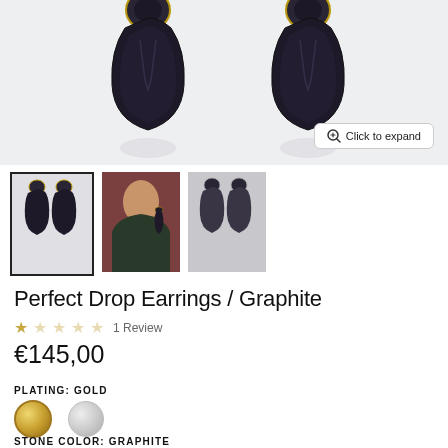[Figure (photo): Product photo of Perfect Drop Earrings in Graphite colorway, showing two large dark teardrop-shaped gemstone drop earrings with gold settings, displayed on white/light grey background with reflections. A 'Click to expand' button appears in bottom right corner.]
[Figure (photo): Three product thumbnails: first (selected/outlined) shows earrings on white background, second shows a model wearing the earrings, third shows earrings on grey background.]
Perfect Drop Earrings / Graphite
1 Review
€145,00
PLATING: GOLD
[Figure (other): Two color swatches: gold (selected) and silver]
STONE COLOR: GRAPHITE